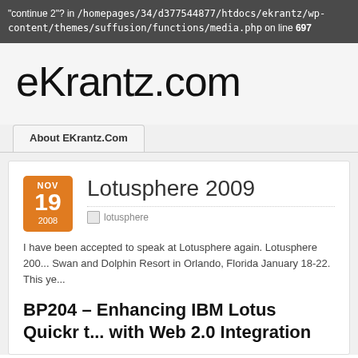"continue 2"? in /homepages/34/d377544877/htdocs/ekrantz/wp-content/themes/suffusion/functions/media.php on line 697
eKrantz.com
About EKrantz.Com
Lotusphere 2009
Nov 19 2008
lotusphere
I have been accepted to speak at Lotusphere again. Lotusphere 200... Swan and Dolphin Resort in Orlando, Florida January 18-22. This ye...
BP204 – Enhancing IBM Lotus Quickr ... with Web 2.0 Integration